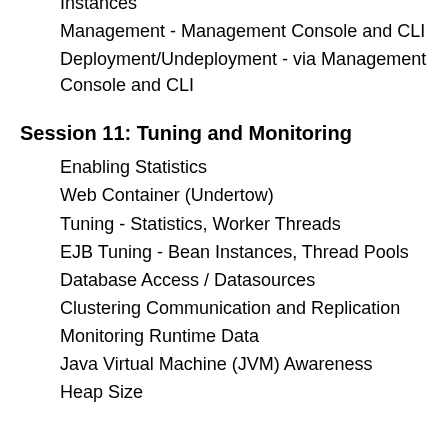Instances
Management - Management Console and CLI
Deployment/Undeployment - via Management Console and CLI
Session 11: Tuning and Monitoring
Enabling Statistics
Web Container (Undertow)
Tuning - Statistics, Worker Threads
EJB Tuning - Bean Instances, Thread Pools
Database Access / Datasources
Clustering Communication and Replication
Monitoring Runtime Data
Java Virtual Machine (JVM) Awareness
Heap Size